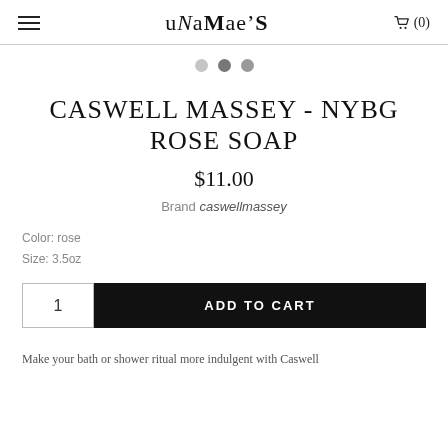uNaMac’S  (0)
CASWELL MASSEY - NYBG ROSE SOAP
$11.00
Brand caswellmassey
Color: rose
Size: 3.5oz
ADD TO CART
Make your bath or shower ritual more indulgent with Caswell